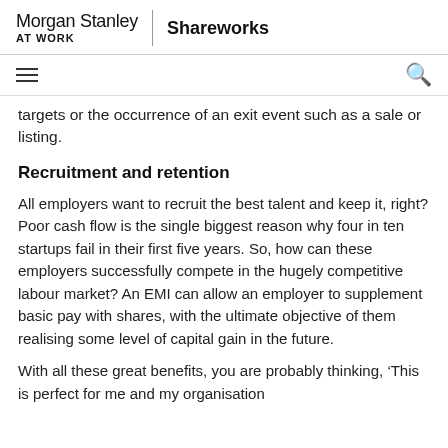Morgan Stanley AT WORK | Shareworks
targets or the occurrence of an exit event such as a sale or listing.
Recruitment and retention
All employers want to recruit the best talent and keep it, right? Poor cash flow is the single biggest reason why four in ten startups fail in their first five years. So, how can these employers successfully compete in the hugely competitive labour market? An EMI can allow an employer to supplement basic pay with shares, with the ultimate objective of them realising some level of capital gain in the future.
With all these great benefits, you are probably thinking, ‘This is perfect for me and my organisation but…’ – the next ‘obstacle’ they are likely to encount